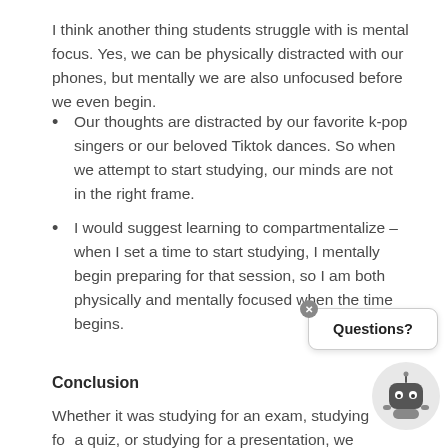I think another thing students struggle with is mental focus. Yes, we can be physically distracted with our phones, but mentally we are also unfocused before we even begin.
Our thoughts are distracted by our favorite k-pop singers or our beloved Tiktok dances. So when we attempt to start studying, our minds are not in the right frame.
I would suggest learning to compartmentalize – when I set a time to start studying, I mentally begin preparing for that session, so I am both physically and mentally focused when the time begins.
Conclusion
Whether it was studying for an exam, studying for a quiz, or studying for a presentation, we have all